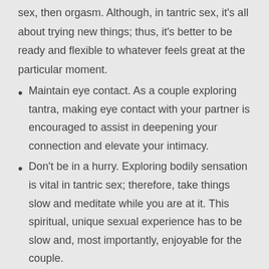sex, then orgasm. Although, in tantric sex, it's all about trying new things; thus, it's better to be ready and flexible to whatever feels great at the particular moment.
Maintain eye contact. As a couple exploring tantra, making eye contact with your partner is encouraged to assist in deepening your connection and elevate your intimacy.
Don't be in a hurry. Exploring bodily sensation is vital in tantric sex; therefore, take things slow and meditate while you are at it. This spiritual, unique sexual experience has to be slow and, most importantly, enjoyable for the couple.
The breathing technique
One of the most integral factors of tantric sex is breathing, so please breathe. Partially, this is because